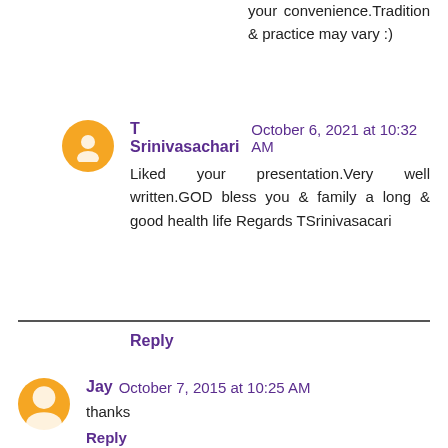your convenience.Tradition & practice may vary :)
T Srinivasachari  October 6, 2021 at 10:32 AM
Liked your presentation.Very well written.GOD bless you & family a long & good health life
Regards
TSrinivasacari
Reply
Jay  October 7, 2015 at 10:25 AM
thanks
Reply